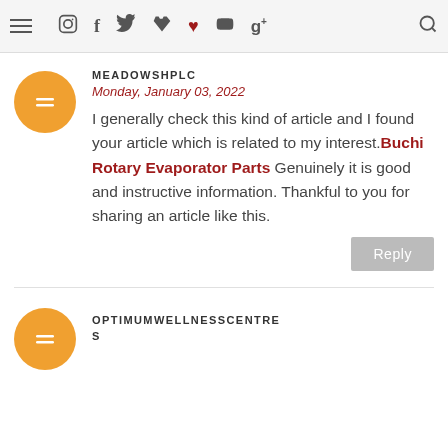Navigation bar with menu, social icons, and search
MEADOWSHPLC
Monday, January 03, 2022
I generally check this kind of article and I found your article which is related to my interest.Buchi Rotary Evaporator Parts Genuinely it is good and instructive information. Thankful to you for sharing an article like this.
Reply
OPTIMUMWELLNESSCENTRES